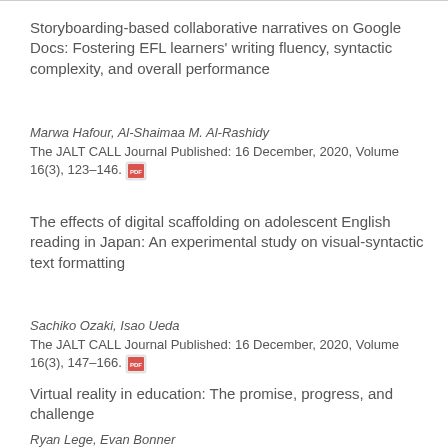Storyboarding-based collaborative narratives on Google Docs: Fostering EFL learners' writing fluency, syntactic complexity, and overall performance
Marwa Hafour, Al-Shaimaa M. Al-Rashidy
The JALT CALL Journal Published: 16 December, 2020, Volume 16(3), 123–146.
The effects of digital scaffolding on adolescent English reading in Japan: An experimental study on visual-syntactic text formatting
Sachiko Ozaki, Isao Ueda
The JALT CALL Journal Published: 16 December, 2020, Volume 16(3), 147–166.
Virtual reality in education: The promise, progress, and challenge
Ryan Lege, Evan Bonner